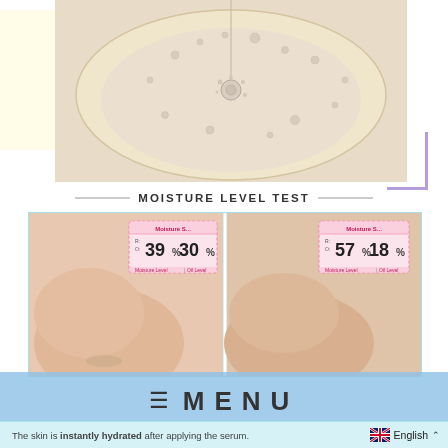[Figure (photo): Close-up overhead photo of a circular gel/serum droplet on a plate, showing water droplets scattered on the surface with a splash in the center. Yellow accent on left, purple corner bracket on bottom right.]
MOISTURE LEVEL TEST
[Figure (photo): Side-by-side before and after comparison of moisture level test on skin. Before: moisture meter reading 39% moisture, 30% oil. After: 57% moisture, 18% oil. Both panels show a hand/skin swatch with digital meter display.]
[Figure (screenshot): Blue translucent menu overlay with hamburger icon and MENU text in bold, overlapping the moisture test images.]
The skin is instantly hydrated after applying the serum.